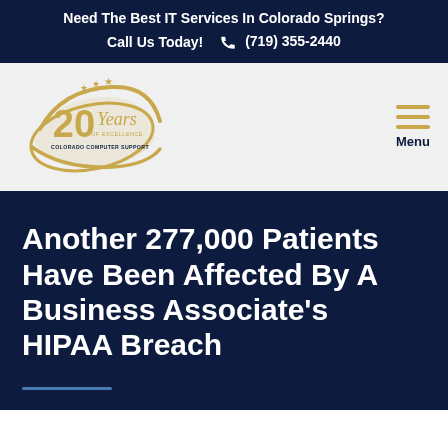Need The Best IT Services In Colorado Springs?
Call Us Today! (719) 355-2440
[Figure (logo): Colorado Computer Support 20 Years of Excellence logo with gold swoosh and stars]
Menu
Another 277,000 Patients Have Been Affected By A Business Associate's HIPAA Breach